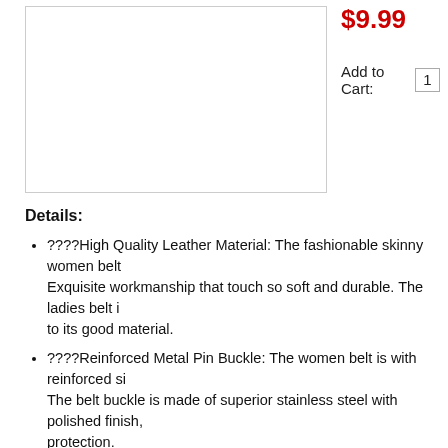[Figure (photo): Product image placeholder (white box with border)]
$9.99
Add to Cart:  1
Details:
????High Quality Leather Material: The fashionable skinny women belt. Exquisite workmanship that touch so soft and durable. The ladies belt is to its good material.
????Reinforced Metal Pin Buckle: The women belt is with reinforced si. The belt buckle is made of superior stainless steel with polished finish, protection.
????Multiple Color&Size Choice: This leather belt is with solid and mu concise coffee, calm blue, pure white, retro brown. Different colors, will &XL, so it is very easy for you to choose the suitable size.
????Perfect For Many Outfits : The waist belt is with fashion design an use this women belt to match with skirts, dresses, jeans, sweater and s